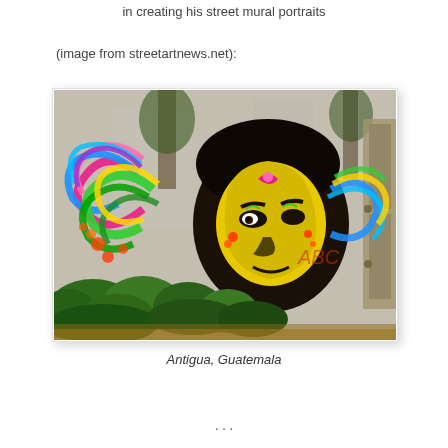in creating his street mural portraits
(image from streetartnews.net):
[Figure (photo): A colorful street mural on a concrete wall depicting a portrait of a person's face painted in yellow and black with vibrant multicolored floral and swirling designs extending from the head. Green bushes are visible at the bottom of the wall. Located in Antigua, Guatemala.]
Antigua, Guatemala
...